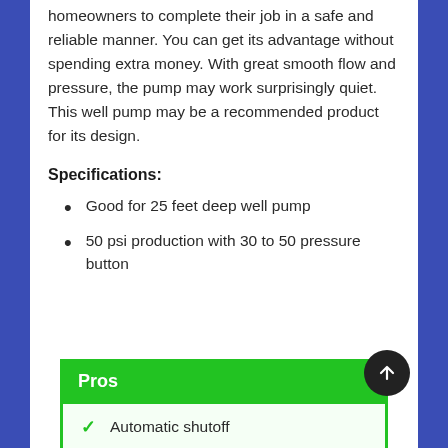homeowners to complete their job in a safe and reliable manner. You can get its advantage without spending extra money. With great smooth flow and pressure, the pump may work surprisingly quiet. This well pump may be a recommended product for its design.
Specifications:
Good for 25 feet deep well pump
50 psi production with 30 to 50 pressure button
Pros
Automatic shutoff